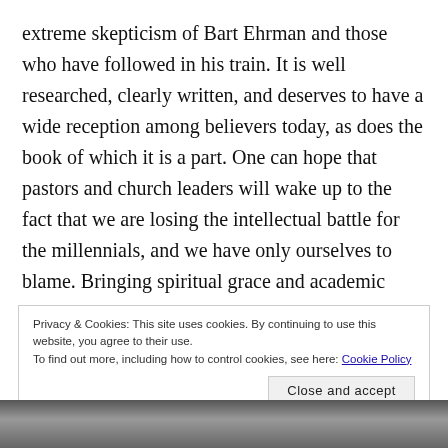extreme skepticism of Bart Ehrman and those who have followed in his train. It is well researched, clearly written, and deserves to have a wide reception among believers today, as does the book of which it is a part. One can hope that pastors and church leaders will wake up to the fact that we are losing the intellectual battle for the millennials, and we have only ourselves to blame. Bringing spiritual grace and academic rigor to the table is needed, and Blomberg is one of the evangelical gatekeepers leading the way.
Privacy & Cookies: This site uses cookies. By continuing to use this website, you agree to their use.
To find out more, including how to control cookies, see here: Cookie Policy
Close and accept
[Figure (photo): Black and white photograph strip at the bottom of the page, showing partial faces/figures]